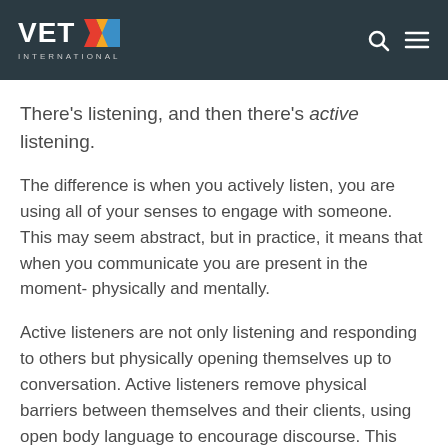VETX INTERNATIONAL
There's listening, and then there's active listening.
The difference is when you actively listen, you are using all of your senses to engage with someone. This may seem abstract, but in practice, it means that when you communicate you are present in the moment- physically and mentally.
Active listeners are not only listening and responding to others but physically opening themselves up to conversation. Active listeners remove physical barriers between themselves and their clients, using open body language to encourage discourse. This goes beyond a simple head nod, furrowed brown, or well-timed verbal affirmation. They are curious,